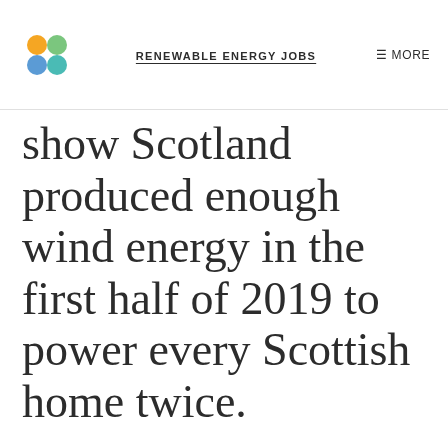RENEWABLE ENERGY JOBS | MORE
show Scotland produced enough wind energy in the first half of 2019 to power every Scottish home twice.
Half the time, double the power
New data by the analytics group WeatherEnergy show Scotland produced enough wind energy in the first half of 2019 to power every Scottish home twice.